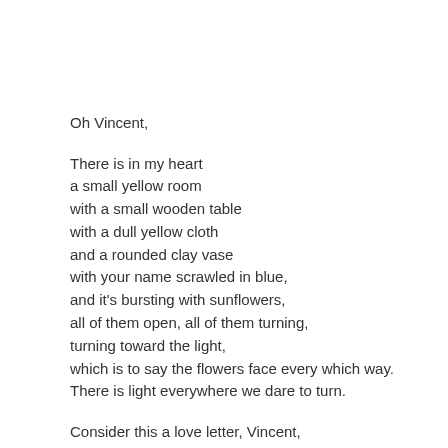Oh Vincent,
There is in my heart
a small yellow room
with a small wooden table
with a dull yellow cloth
and a rounded clay vase
with your name scrawled in blue,
and it's bursting with sunflowers,
all of them open, all of them turning,
turning toward the light,
which is to say the flowers face every which way.
There is light everywhere we dare to turn.
Consider this a love letter, Vincent,
a letter sent back in time,
a letter that impossibly arrives
just when you despair,
just when you believe no one cares about your art,
the letter that reaches you to say you are loved